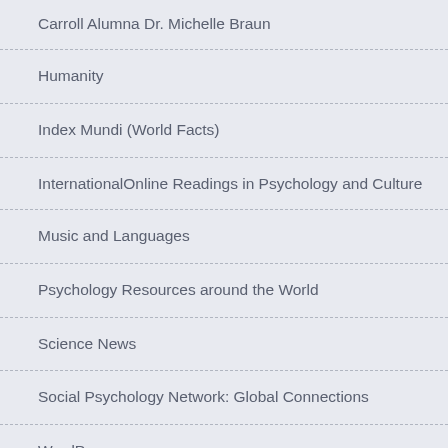Carroll Alumna Dr. Michelle Braun
Humanity
Index Mundi (World Facts)
InternationalOnline Readings in Psychology and Culture
Music and Languages
Psychology Resources around the World
Science News
Social Psychology Network: Global Connections
WordPress.com